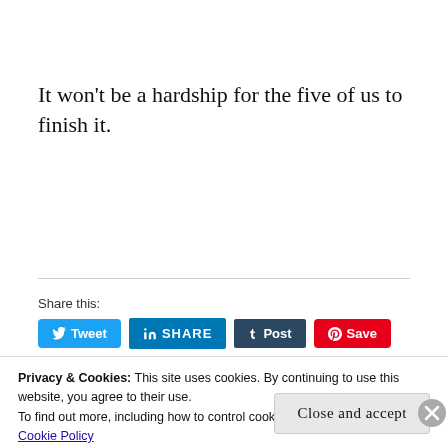It won’t be a hardship for the five of us to finish it.
Share this:
[Figure (screenshot): Social share buttons: Tweet (Twitter, blue), SHARE (LinkedIn, navy), Post (Tumblr, dark navy), Save (Pinterest, red)]
Privacy & Cookies: This site uses cookies. By continuing to use this website, you agree to their use.
To find out more, including how to control cookies, see here:
Cookie Policy
Close and accept